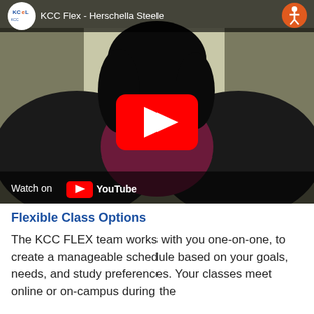[Figure (screenshot): YouTube video thumbnail showing a woman named Herschella Steele speaking, with KCC logo and video title 'KCC Flex - Herschella Steele' in the top bar, a red YouTube play button in the center, and 'Watch on YouTube' in the bottom bar.]
Flexible Class Options
The KCC FLEX team works with you one-on-one, to create a manageable schedule based on your goals, needs, and study preferences. Your classes meet online or on-campus during the